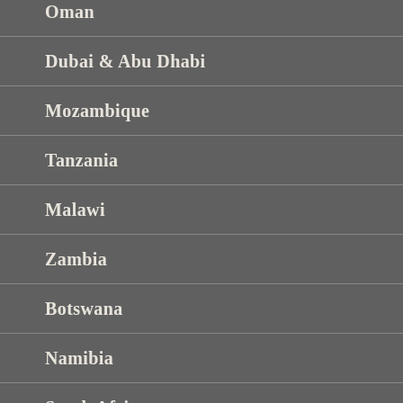Oman
Dubai & Abu Dhabi
Mozambique
Tanzania
Malawi
Zambia
Botswana
Namibia
South Africa